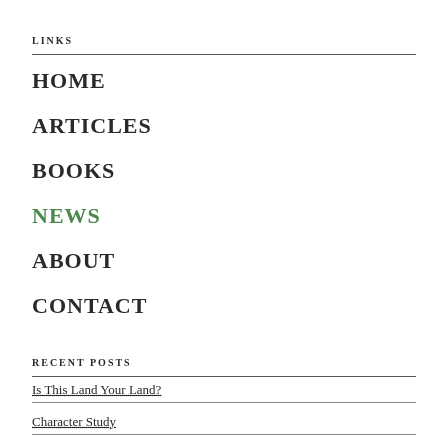LINKS
HOME
ARTICLES
BOOKS
NEWS
ABOUT
CONTACT
RECENT POSTS
Is This Land Your Land?
Character Study